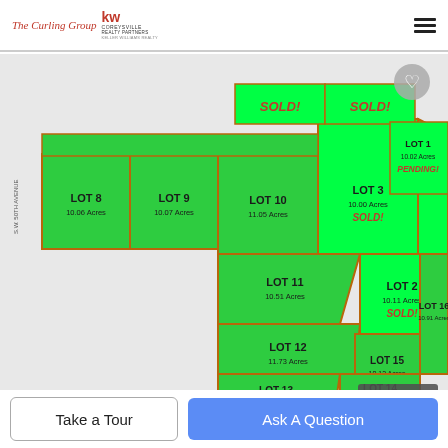The Curling Group KW Coreysville Realty Partners Keller Williams Realty
[Figure (map): Real estate lot map showing lots 1-16 with green parcels. Lot 3: 10.00 Acres SOLD!, Lot 2: 10.11 Acres SOLD!, Lot 1: 10.02 Acres PENDING!, Lot 8: 10.06 Acres, Lot 9: 10.07 Acres, Lot 10: 11.05 Acres, Lot 11: 10.51 Acres, Lot 12: 11.73 Acres, Lot 13: 11.59 Acres, Lot 14: 10.53 Acres, Lot 15: 10.13 Acres, Lot 16: 10.91 Acres. Two lots at top marked SOLD! in bright green. Heart/favorite button top right, counter badge showing 1 of 20.]
Take a Tour
Ask A Question